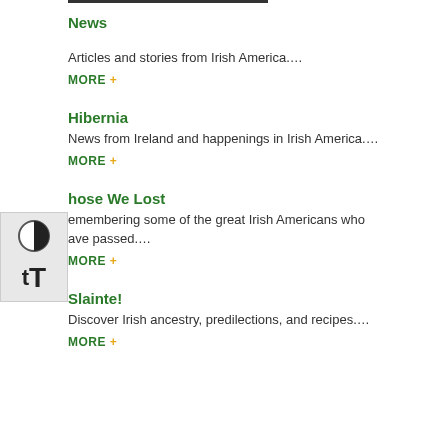News
Articles and stories from Irish America....
MORE +
Hibernia
News from Ireland and happenings in Irish America....
MORE +
[Figure (other): Accessibility widget with contrast toggle icon and text size icon overlaid on left side]
Those We Lost
Remembering some of the great Irish Americans who have passed....
MORE +
Slainte!
Discover Irish ancestry, predilections, and recipes....
MORE +